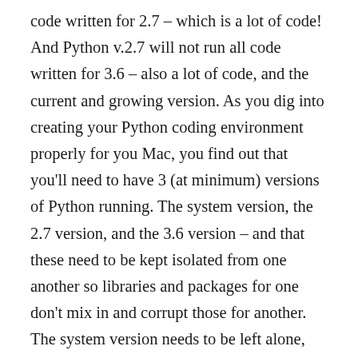code written for 2.7 – which is a lot of code! And Python v.2.7 will not run all code written for 3.6 – also a lot of code, and the current and growing version. As you dig into creating your Python coding environment properly for you Mac, you find out that you'll need to have 3 (at minimum) versions of Python running. The system version, the 2.7 version, and the 3.6 version – and that these need to be kept isolated from one another so libraries and packages for one don't mix in and corrupt those for another. The system version needs to be left alone, exactly as any apps or system software that might need it expects it to be. Libraries and packages and environment for 2.7 and for 3.6 are incompatible and require isolation from each other. System wide sharing of one Python environment is not